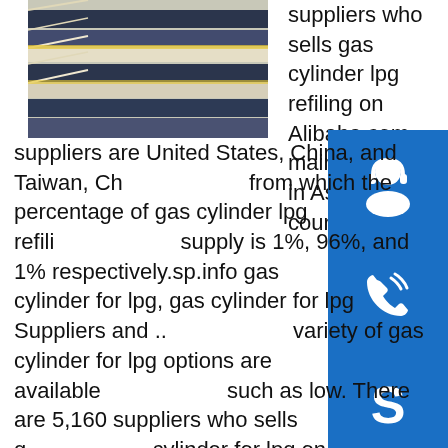[Figure (photo): Photo of stacked metal sheets/plates, dark blue and light colored, viewed from an angle.]
suppliers who sells gas cylinder lpg refiling on Alibaba.com, mainly located in Asia. The top countries of suppliers are United States, China, and Taiwan, China, from which the percentage of gas cylinder lpg refiling supply is 1%, 96%, and 1% respectively.sp.info gas cylinder for lpg, gas cylinder for lpg Suppliers and ...A variety of gas cylinder for lpg options are available to you, such as low. There are 5,160 suppliers who sells gas cylinder for lpg on Alibaba.com, mainly located in Asia. The top countries of suppliers are Turkey, China, and Taiwan, China, from which the percentage of gas cylinder for lpg supply is 1%, 97%, and 1% respectively.sp.info 12kg gas cylinders, 12kg gas cylinders Suppliers and ...SINOVOE Company is BV Assessment Manufacturer. Product Information 1.Product Specification Item No. BL4143 Brand Name SINOVOE Material steel Capacity 3kg,5kg,6kg,10kg,12.5kg Color orange , Blue, Green